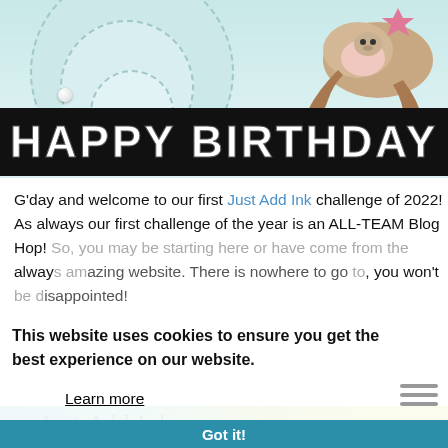[Figure (photo): A handmade birthday card with light blue/teal background featuring stitched circles and a sloth/dinosaur illustration hanging at the top right. A black banner across the lower portion reads 'HAPPY BIRTHDAY' in large white bold letters.]
G'day and welcome to our first Just Add Ink challenge of 2022! As always our first challenge of the year is an ALL-TEAM Blog Hop! So, you may be starting here or have come from the always amazing website. There is nowhere to go but forward, you won't be disappointed!
This website uses cookies to ensure you get the best experience on our website.
Learn more
Got it!